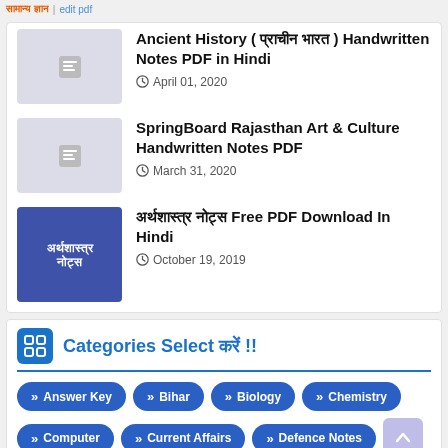सामान्य ज्ञान | edit pdf
Ancient History ( प्राचीन भारत ) Handwritten Notes PDF in Hindi — April 01, 2020
SpringBoard Rajasthan Art & Culture Handwritten Notes PDF — March 31, 2020
अर्थशास्त्र नोट्स Free PDF Download In Hindi — October 19, 2019
Categories Select करें !!
Answer Key
Bihar
Biology
Chemistry
Computer
Current Affairs
Defence Notes
E-Book PDF
English
Environment